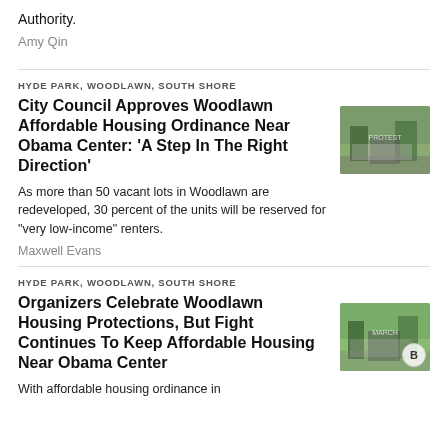Authority.
Amy Qin
HYDE PARK, WOODLAWN, SOUTH SHORE
City Council Approves Woodlawn Affordable Housing Ordinance Near Obama Center: ‘A Step In The Right Direction’
As more than 50 vacant lots in Woodlawn are redeveloped, 30 percent of the units will be reserved for “very low-income” renters.
Maxwell Evans
[Figure (photo): People gathered outdoors, some holding signs, near trees and a fence.]
HYDE PARK, WOODLAWN, SOUTH SHORE
Organizers Celebrate Woodlawn Housing Protections, But Fight Continues To Keep Affordable Housing Near Obama Center
With affordable housing ordinance in...
[Figure (photo): People gathered outdoors holding signs, near trees, with a circular B badge/watermark in the lower right corner.]